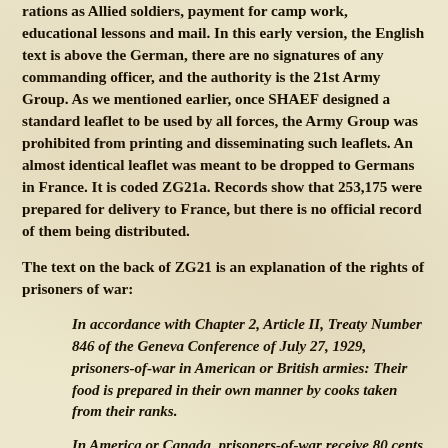rations as Allied soldiers, payment for camp work, educational lessons and mail. In this early version, the English text is above the German, there are no signatures of any commanding officer, and the authority is the 21st Army Group. As we mentioned earlier, once SHAEF designed a standard leaflet to be used by all forces, the Army Group was prohibited from printing and disseminating such leaflets. An almost identical leaflet was meant to be dropped to Germans in France. It is coded ZG21a. Records show that 253,175 were prepared for delivery to France, but there is no official record of them being distributed.
The text on the back of ZG21 is an explanation of the rights of prisoners of war:
In accordance with Chapter 2, Article II, Treaty Number 846 of the Geneva Conference of July 27, 1929, prisoners-of-war in American or British armies: Their food is prepared in their own manner by cooks taken from their ranks.
In America or Canada, prisoners-of-war receive 80 cents a day for work inside or